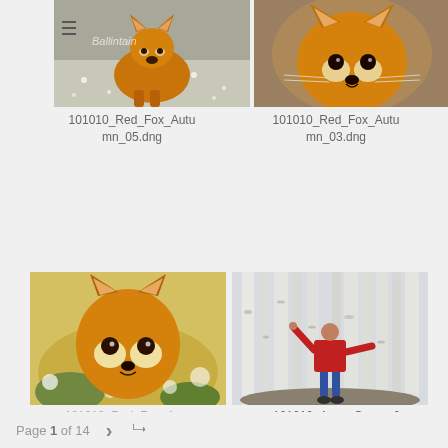[Figure (photo): Red fox standing in snowy/leafy ground, viewed from front-left, with hamburger menu icon and watermark overlay]
101010_Red_Fox_Autumn_05.dng
[Figure (photo): Close-up of red fox face looking directly at camera with orange fur]
101010_Red_Fox_Autumn_03.dng
[Figure (photo): Young red fox looking up toward camera with autumn foliage background]
101010_Red_Fox_Au... (partially visible)
[Figure (photo): Person in red jacket and jeans standing on fallen log with arms raised in aspen grove with tall white birch/aspen trees]
101010_AspenGrove_JavierChung_41.dng
Page 1 of 14